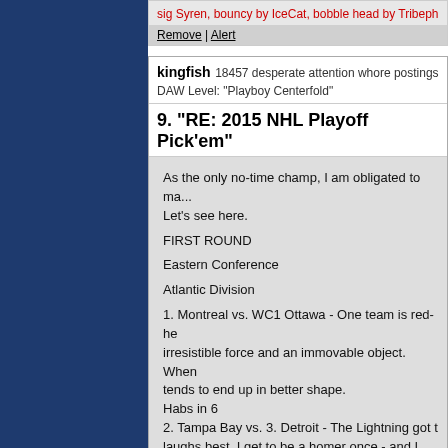sig Syren, bouncy by IceCat, bobble head by Tribeph
Remove | Alert
kingfish 18457 desperate attention whore postings
DAW Level: "Playboy Centerfold"
9. "RE: 2015 NHL Playoff Pick'em"
As the only no-time champ, I am obligated to ma...
Let's see here.

FIRST ROUND

Eastern Conference

Atlantic Division
1. Montreal vs. WC1 Ottawa - One team is red-h...
irresistible force and an immovable object. Whe...
tends to end up in better shape.
Habs in 6
2. Tampa Bay vs. 3. Detroit - The Lightning got t...
laughs best. I get to be a homer once - and I hav...
Wings in 6

Metropolitan Division
1. NY Rangers vs. WC2 Pittsburgh - The Pens wa...
enough to hope for it.
Blue shirts in...